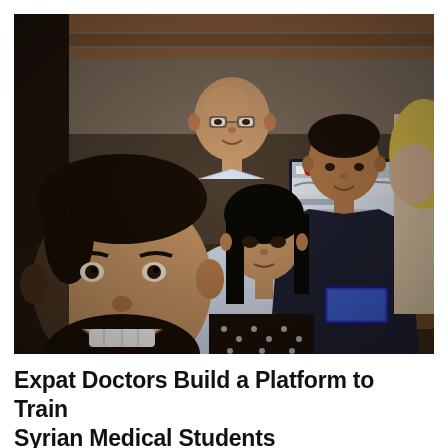[Figure (photo): Group photo of five people sitting around a table in a dim room. In the foreground is a smiling young man with dark hair and beard wearing a navy shirt. Behind him is a young woman with dark hair. In the back center stands a bald man with glasses in a white shirt. To the right sits a man in a dark jacket pointing at an open laptop showing a website. Partially visible on the far right is a blonde woman. A smartphone and cables are visible on the table.]
Expat Doctors Build a Platform to Train Syrian Medical Students